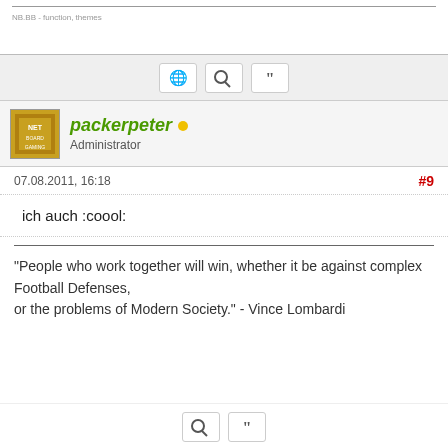NB.BB - function, themes
[Figure (screenshot): Toolbar with globe, search, and quote buttons]
packerpeter • Administrator
07.08.2011, 16:18  #9
ich auch :coool:
"People who work together will win, whether it be against complex Football Defenses,
or the problems of Modern Society." - Vince Lombardi
[Figure (screenshot): Bottom toolbar with search and quote buttons]